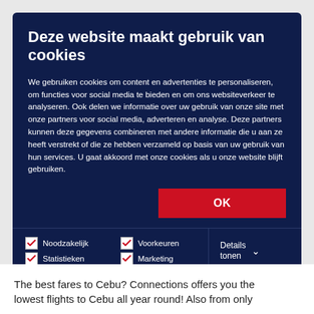Deze website maakt gebruik van cookies
We gebruiken cookies om content en advertenties te personaliseren, om functies voor social media te bieden en om ons websiteverkeer te analyseren. Ook delen we informatie over uw gebruik van onze site met onze partners voor social media, adverteren en analyse. Deze partners kunnen deze gegevens combineren met andere informatie die u aan ze heeft verstrekt of die ze hebben verzameld op basis van uw gebruik van hun services. U gaat akkoord met onze cookies als u onze website blijft gebruiken.
OK
Noodzakelijk   Voorkeuren   Statistieken   Marketing   Details tonen
The best fares to Cebu? Connections offers you the lowest flight to Cebu all year round! Also from only